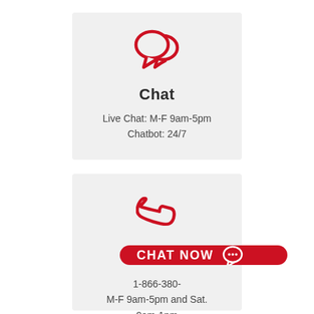[Figure (illustration): Red chat bubble icon (two overlapping speech bubbles outline) centered in card]
Chat
Live Chat: M-F 9am-5pm
Chatbot: 24/7
[Figure (illustration): Red phone handset icon centered in card]
Phone
1-866-380-
M-F 9am-5pm and Sat.
9am-1pm